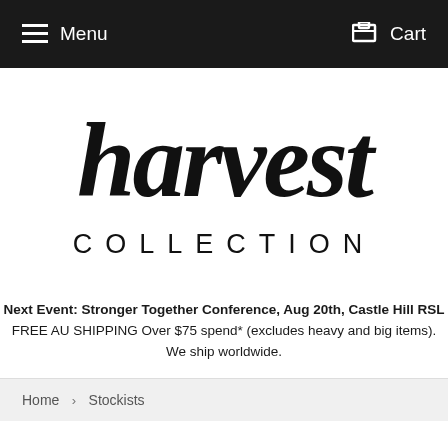Menu  Cart
[Figure (logo): Harvest Collection logo: 'harvest' in large handwritten/script style text, followed by 'COLLECTION' in spaced capital sans-serif letters below]
Next Event: Stronger Together Conference, Aug 20th, Castle Hill RSL
FREE AU SHIPPING Over $75 spend* (excludes heavy and big items).
We ship worldwide.
Home › Stockists